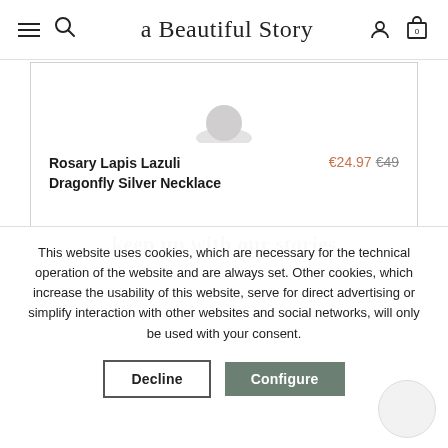a Beautiful Story — navigation with hamburger menu, search, user, and cart icons
[Figure (screenshot): Partial product card showing top of a necklace product image cropped at top]
Rosary Lapis Lazuli Dragonfly Silver Necklace  €24.97  €49
keep up with our stories
This website uses cookies, which are necessary for the technical operation of the website and are always set. Other cookies, which increase the usability of this website, serve for direct advertising or simplify interaction with other websites and social networks, will only be used with your consent.
Decline  Configure